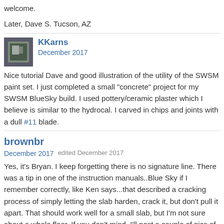welcome.
Later, Dave S. Tucson, AZ
KKarns
December 2017
Nice tutorial Dave and good illustration of the utility of the SWSM paint set. I just completed a small "concrete" project for my SWSM BlueSky build. I used pottery/ceramic plaster which I believe is similar to the hydrocal. I carved in chips and joints with a dull #11 blade.
brownbr
December 2017   edited December 2017
Yes, it's Bryan. I keep forgetting there is no signature line. There was a tip in one of the instruction manuals..Blue Sky if I remember correctly, like Ken says...that described a cracking process of simply letting the slab harden, crack it, but don't pull it apart. That should work well for a small slab, but I'm not sure about a whole floor. If you don't mind, I'll post a couple of pics of a floor that I did and experimented with expansion joints using a #11 blade as described above.